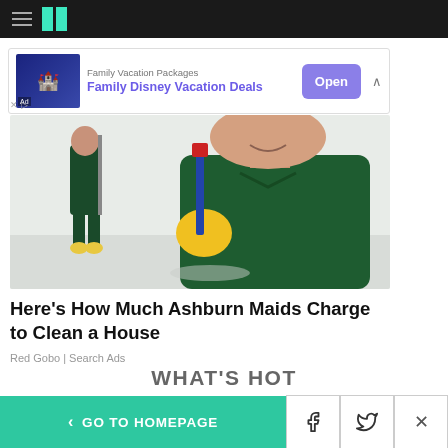HuffPost navigation bar with hamburger menu and logo
[Figure (screenshot): Ad banner: Family Vacation Packages - Family Disney Vacation Deals, with Open button]
[Figure (photo): A smiling person in dark green scrubs and yellow rubber gloves holding a mop/cleaning tool, another person in background also in uniform]
Here's How Much Ashburn Maids Charge to Clean a House
Red Gobo | Search Ads
WHAT'S HOT
< GO TO HOMEPAGE